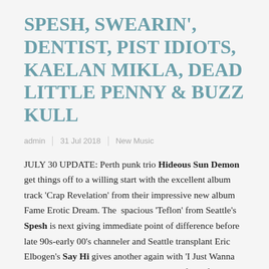SPESH, SWEARIN', DENTIST, PIST IDIOTS, KAELAN MIKLA, DEAD LITTLE PENNY & BUZZ KULL
admin  |  31 Jul 2018  |  New Music
JULY 30 UPDATE: Perth punk trio Hideous Sun Demon get things off to a willing start with the excellent album track 'Crap Revelation' from their impressive new album Fame Erotic Dream. The spacious 'Teflon' from Seattle's Spesh is next giving immediate point of difference before late 90s-early 00's channeler and Seattle transplant Eric Elbogen's Say Hi gives another again with 'I Just Wanna Go Home'. Philadephia's Swearin' return after a five year absence with the canny and distortion heavy 'Grow Into A Ghost' highlighted by Alison Crutchfield's excellent vocal